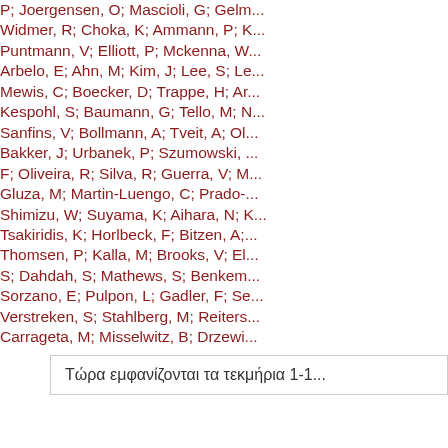P; Joergensen, O; Mascioli, G; Gelm... Widmer, R; Choka, K; Ammann, P; K... Puntmann, V; Elliott, P; Mckenna, W... Arbelo, E; Ahn, M; Kim, J; Lee, S; Le... Mewis, C; Boecker, D; Trappe, H; Ar... Kespohl, S; Baumann, G; Tello, M; N... Sanfins, V; Bollmann, A; Tveit, A; Ol... Bakker, J; Urbanek, P; Szumowski,... F; Oliveira, R; Silva, R; Guerra, V; M... Gluza, M; Martin-Luengo, C; Prado-... Shimizu, W; Suyama, K; Aihara, N; K... Tsakiridis, K; Horlbeck, F; Bitzen, A;... Thomsen, P; Kalla, M; Brooks, V; El... S; Dahdah, S; Mathews, S; Benkem... Sorzano, E; Pulpon, L; Gadler, F; Se... Verstreken, S; Stahlberg, M; Reiters... Carrageta, M; Misselwitz, B; Drzewi...
Τώρα εμφανίζονται τα τεκμήρια 1-1...